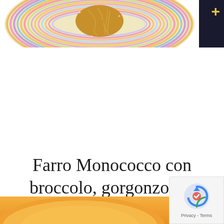[Figure (photo): Top portion of a colorful striped plate with pasta (spaghetti/noodles) in the center, circular concentric rainbow stripes visible on the plate. Dark corner in top right with a yellow plus icon.]
Farro Monococco con broccolo, gorgonzola e noci
[Figure (photo): Bottom portion of a page showing an orange/yellow rounded object (possibly a squash or bowl) on a light background. Partially visible. A reCAPTCHA privacy widget overlays the bottom right corner.]